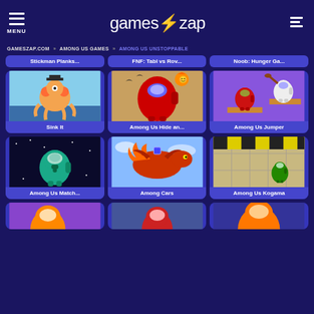MENU | gameszap | [search]
GAMESZAP.COM » AMONG US GAMES » AMONG US UNSTOPPABLE
Stickman Planks...
FNF: Tabl vs Rov...
Noob: Hunger Ga...
[Figure (screenshot): Sink It game thumbnail - pirate octopus character]
Sink It
[Figure (screenshot): Among Us Hide an... game thumbnail - red among us character with halloween theme]
Among Us Hide an...
[Figure (screenshot): Among Us Jumper game thumbnail - red and white among us characters on platforms]
Among Us Jumper
[Figure (screenshot): Among Us Match... game thumbnail - teal among us character in space]
Among Us Match...
[Figure (screenshot): Among Cars game thumbnail - colorful dragon on a motorcycle]
Among Cars
[Figure (screenshot): Among Us Kogama game thumbnail - green among us character on a platform]
Among Us Kogama
[Figure (screenshot): Partial bottom row - orange among us game thumbnail]
[Figure (screenshot): Partial bottom row - red among us character thumbnail]
[Figure (screenshot): Partial bottom row - orange character game thumbnail]